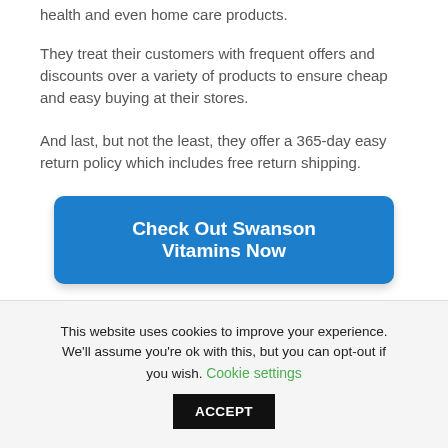health and even home care products.
They treat their customers with frequent offers and discounts over a variety of products to ensure cheap and easy buying at their stores.
And last, but not the least, they offer a 365-day easy return policy which includes free return shipping.
Check Out Swanson Vitamins Now
This website uses cookies to improve your experience. We'll assume you're ok with this, but you can opt-out if you wish. Cookie settings ACCEPT